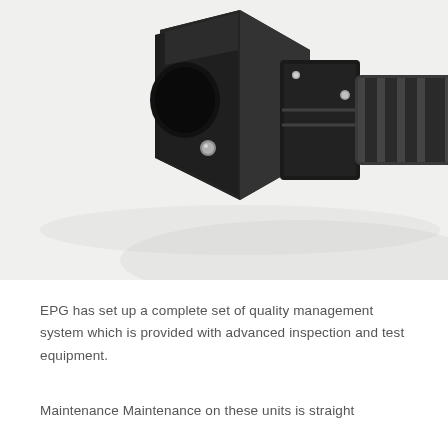[Figure (photo): Close-up photograph of a dark metallic mechanical component (likely a pneumatic tool or rotary coupling) with a hexagonal nut, cylindrical shaft with grooves, small silver ball bearing detail, and set screws, photographed against a white background.]
EPG has set up a complete set of quality management system which is provided with advanced inspection and test equipment.
Maintenance Maintenance on these units is straight